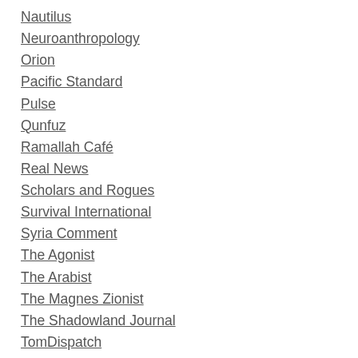Nautilus
Neuroanthropology
Orion
Pacific Standard
Pulse
Qunfuz
Ramallah Café
Real News
Scholars and Rogues
Survival International
Syria Comment
The Agonist
The Arabist
The Magnes Zionist
The Shadowland Journal
TomDispatch